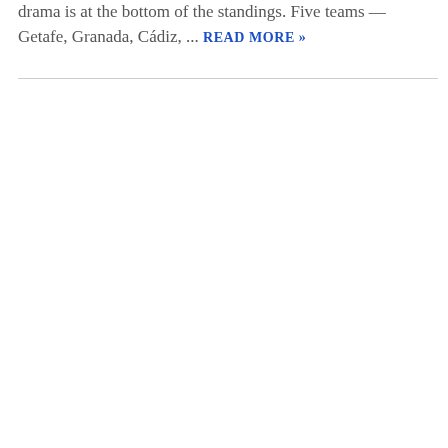drama is at the bottom of the standings. Five teams — Getafe, Granada, Cádiz, ... READ MORE »